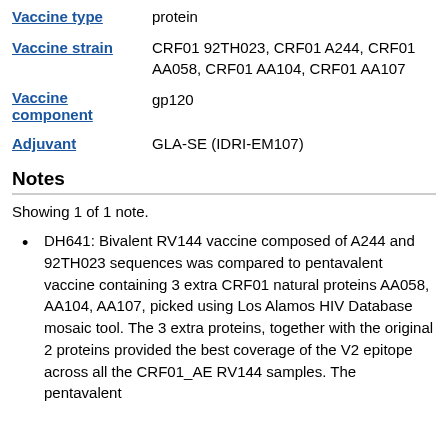| Field | Value |
| --- | --- |
| Vaccine type | protein |
| Vaccine strain | CRF01 92TH023, CRF01 A244, CRF01 AA058, CRF01 AA104, CRF01 AA107 |
| Vaccine component | gp120 |
| Adjuvant | GLA-SE (IDRI-EM107) |
Notes
Showing 1 of 1 note.
DH641: Bivalent RV144 vaccine composed of A244 and 92TH023 sequences was compared to pentavalent vaccine containing 3 extra CRF01 natural proteins AA058, AA104, AA107, picked using Los Alamos HIV Database mosaic tool. The 3 extra proteins, together with the original 2 proteins provided the best coverage of the V2 epitope across all the CRF01_AE RV144 samples. The pentavalent